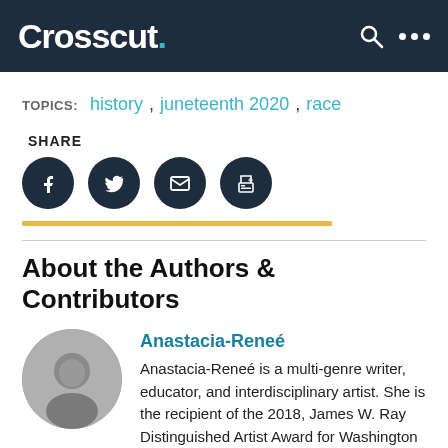Crosscut.
TOPICS: history, juneteenth 2020, race
SHARE
[Figure (screenshot): Social share icons: Facebook, Twitter, email, print — dark circles on white background with yellow underline bar]
About the Authors & Contributors
[Figure (photo): Circular black and white portrait photo of Anastacia-Reneé]
Anastacia-Reneé
Anastacia-Reneé is a multi-genre writer, educator, and interdisciplinary artist. She is the recipient of the 2018, James W. Ray Distinguished Artist Award for Washington artists (Artist Trust), and has